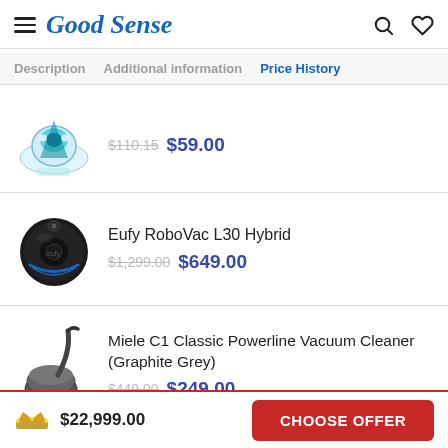Good Sense
Description   Additional information   Price History
[Figure (photo): RC boat / mouse product image with teal and white coloring]
$110.15  $59.00
[Figure (photo): Eufy RoboVac L30 Hybrid robot vacuum cleaner, black circular device with blue accents]
Eufy RoboVac L30 Hybrid
$1,299.00  $649.00
[Figure (photo): Miele C1 Classic Powerline Vacuum Cleaner (Graphite Grey) canister vacuum]
Miele C1 Classic Powerline Vacuum Cleaner (Graphite Grey)
$449.00  $249.00
$22,999.00   CHOOSE OFFER